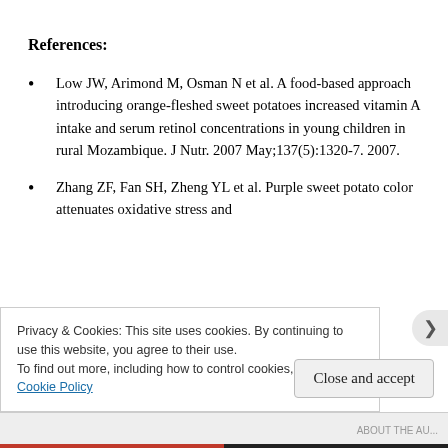References:
Low JW, Arimond M, Osman N et al. A food-based approach introducing orange-fleshed sweet potatoes increased vitamin A intake and serum retinol concentrations in young children in rural Mozambique. J Nutr. 2007 May;137(5):1320-7. 2007.
Zhang ZF, Fan SH, Zheng YL et al. Purple sweet potato color attenuates oxidative stress and
Privacy & Cookies: This site uses cookies. By continuing to use this website, you agree to their use.
To find out more, including how to control cookies, see here:
Cookie Policy
Close and accept